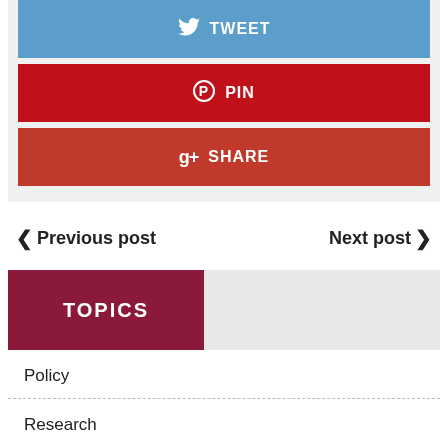[Figure (screenshot): Social share buttons: TWEET (blue), PIN (red), SHARE (dark red/Google+)]
< Previous post    Next post >
TOPICS
Policy
Research